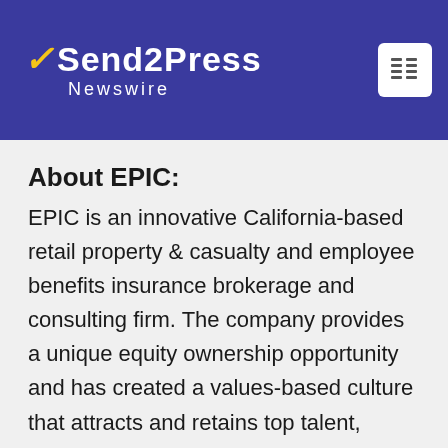Send2Press Newswire
About EPIC:
EPIC is an innovative California-based retail property & casualty and employee benefits insurance brokerage and consulting firm. The company provides a unique equity ownership opportunity and has created a values-based culture that attracts and retains top talent, fosters employee satisfaction and loyalty and sustains a high level of customer service excellence.
The fastest growing brokerage in the state, EPIC now has nearly 300 team members...